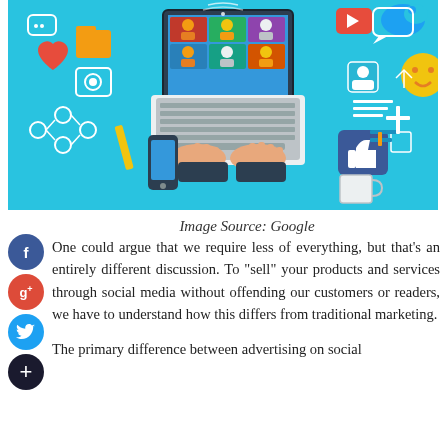[Figure (illustration): Digital/social media marketing illustration showing hands typing on a laptop with a video call screen, surrounded by social media and communication icons on a cyan/teal background.]
Image Source: Google
One could argue that we require less of everything, but that's an entirely different discussion. To "sell" your products and services through social media without offending our customers or readers, we have to understand how this differs from traditional marketing.
The primary difference between advertising on social